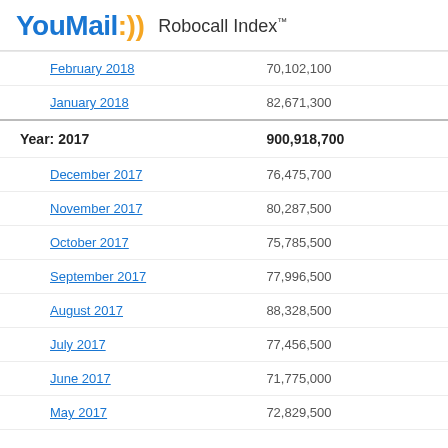YouMail:)) Robocall Index™
| Month | Calls |
| --- | --- |
| February 2018 | 70,102,100 |
| January 2018 | 82,671,300 |
| Year: 2017 | 900,918,700 |
| December 2017 | 76,475,700 |
| November 2017 | 80,287,500 |
| October 2017 | 75,785,500 |
| September 2017 | 77,996,500 |
| August 2017 | 88,328,500 |
| July 2017 | 77,456,500 |
| June 2017 | 71,775,000 |
| May 2017 | 72,829,500 |